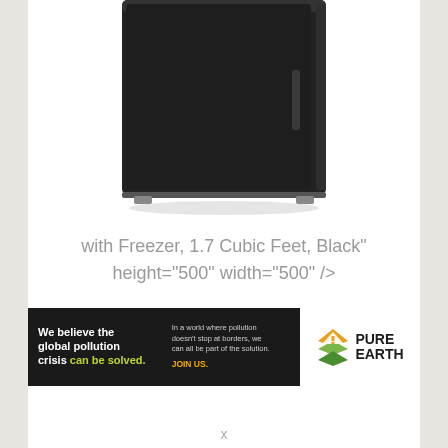[Figure (photo): Black mini refrigerator/freezer product photo on white background, showing top portion of a compact black refrigerator]
with Freezer, 1.7 Cubic Feet, Black"
height="500" width="500" />
[Figure (infographic): Pure Earth advertisement banner. Left black section: 'We believe the global pollution crisis can be solved.' Right section: 'In a world where pollution doesn't stop at borders, we can all be part of the solution. JOIN US.' Pure Earth logo with diamond shape on white background.]
x